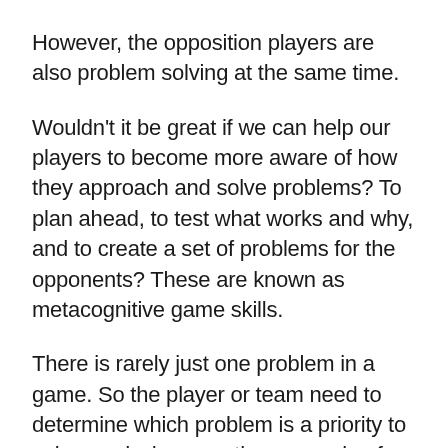However, the opposition players are also problem solving at the same time.
Wouldn't it be great if we can help our players to become more aware of how they approach and solve problems? To plan ahead, to test what works and why, and to create a set of problems for the opponents? These are known as metacognitive game skills.
There is rarely just one problem in a game. So the player or team need to determine which problem is a priority to solve, and why – another example of metacognition.
Thinking on a meta level involves an